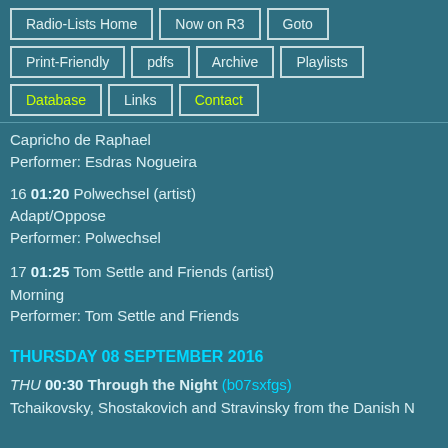Radio-Lists Home | Now on R3 | Goto | Print-Friendly | pdfs | Archive | Playlists | Database | Links | Contact
Capricho de Raphael
Performer: Esdras Nogueira
16 01:20 Polwechsel (artist)
Adapt/Oppose
Performer: Polwechsel
17 01:25 Tom Settle and Friends (artist)
Morning
Performer: Tom Settle and Friends
THURSDAY 08 SEPTEMBER 2016
THU 00:30 Through the Night (b07sxfgs)
Tchaikovsky, Shostakovich and Stravinsky from the Danish N